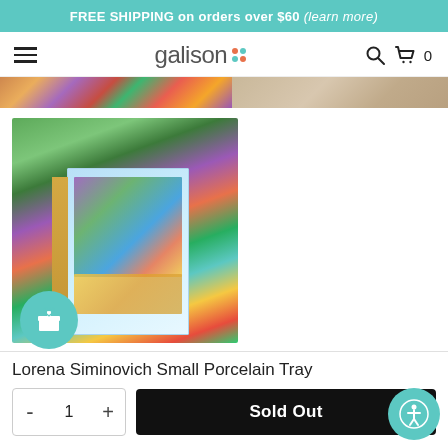FREE SHIPPING on orders over $60 (learn more)
[Figure (logo): Galison brand logo with colorful dots and hamburger menu, search and cart icons]
[Figure (photo): Horizontal image strip showing colorful pattern on left and wood/neutral texture on right]
[Figure (photo): Product image: Lorena Siminovich puzzle box featuring illustrated woman with headphones surrounded by plants and a boombox, with teal gift icon circle overlay]
Lorena Siminovich Small Porcelain Tray
- 1 + Sold Out